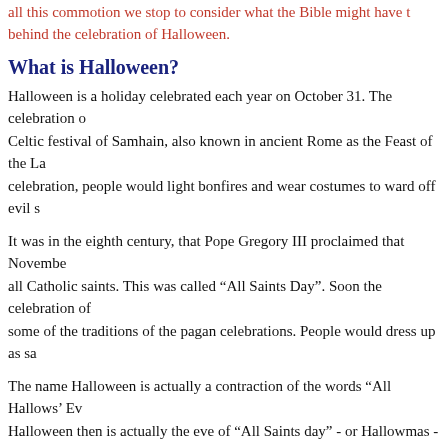all this commotion we stop to consider what the Bible might have to say behind the celebration of Halloween.
What is Halloween?
Halloween is a holiday celebrated each year on October 31. The celebration of Celtic festival of Samhain, also known in ancient Rome as the Feast of the La celebration, people would light bonfires and wear costumes to ward off evil s
It was in the eighth century, that Pope Gregory III proclaimed that November all Catholic saints. This was called “All Saints Day”. Soon the celebration of some of the traditions of the pagan celebrations. People would dress up as sa
The name Halloween is actually a contraction of the words “All Hallows’ Ev Halloween then is actually the eve of “All Saints day” - or Hallowmas - whic start of a three-day observance called “Allhallowtide” - a time which churche (hallows).
This can be seen when one visits Catholic online. On this website we have it the Catholic Church celebrated annually on November 1. The day is dedicato attained heaven. It should not be confused with All Souls’ Day, which is obse died and not yet reached heaven… Generally, All Saints' Day is a Catholic H required to attend Mass on that day, unless they have an excellent excuse, su